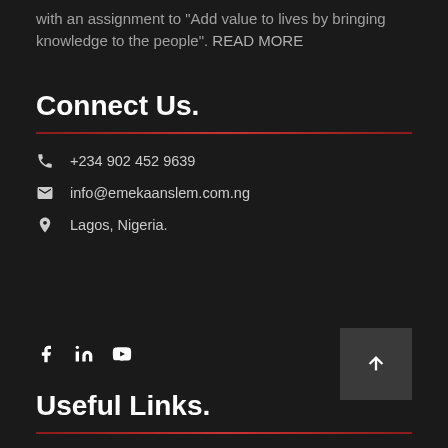with an assignment to "Add value to lives by bringing knowledge to the people". READ MORE
Connect Us.
+234 902 452 9639
info@emekaanslem.com.ng
Lagos, Nigeria.
[Figure (illustration): Social media icons: Facebook, LinkedIn, YouTube]
Useful Links.